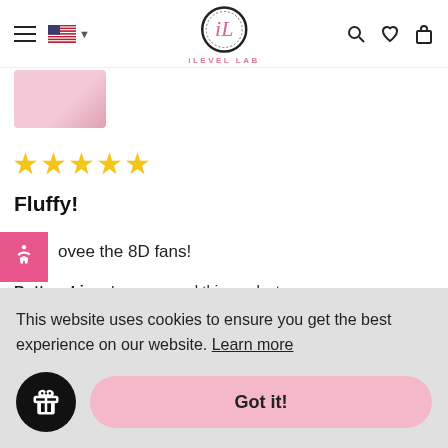iLEVEL LAB — navigation header with hamburger menu, US flag, logo, search, heart, and bag icons
[Figure (photo): Partial product image strip with pink background, cut off at top]
[Figure (other): Five gold star rating]
Fluffy!
ovee the 8D fans!
Bottom Line: I recommend this product
[Figure (photo): Close-up eye with false lashes product photo, partially visible]
This website uses cookies to ensure you get the best experience on our website. Learn more
Got it!
hs ago
Sonelys P.  ✓ Verified Buyer